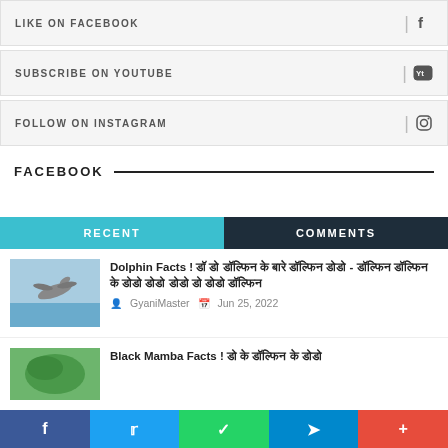LIKE ON FACEBOOK
SUBSCRIBE ON YOUTUBE
FOLLOW ON INSTAGRAM
FACEBOOK
RECENT
COMMENTS
[Figure (photo): Dolphin jumping over water]
Dolphin Facts ! डॉ डो डॉल्फिन के बारे डॉल्फिन डोडो - डॉल्फिन डॉल्फिन के डोडो डोडो डोडो डो डोडो डॉल्फिन
GyaniMaster  Jun 25, 2022
[Figure (photo): Black Mamba snake thumbnail]
Black Mamba Facts ! डो के डॉल्फिन के डोडो
f  t  WhatsApp  Telegram  +